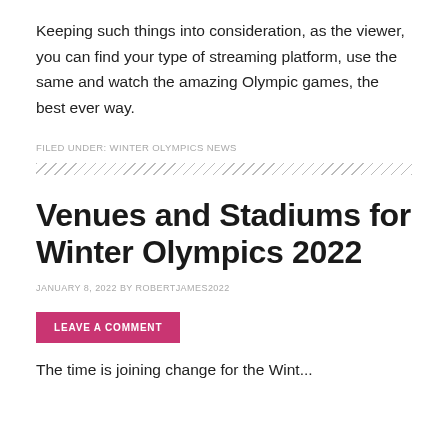Keeping such things into consideration, as the viewer, you can find your type of streaming platform, use the same and watch the amazing Olympic games, the best ever way.
FILED UNDER: WINTER OLYMPICS NEWS
Venues and Stadiums for Winter Olympics 2022
JANUARY 8, 2022 BY ROBERTJAMES2022
LEAVE A COMMENT
The time is joining change for the Wint...